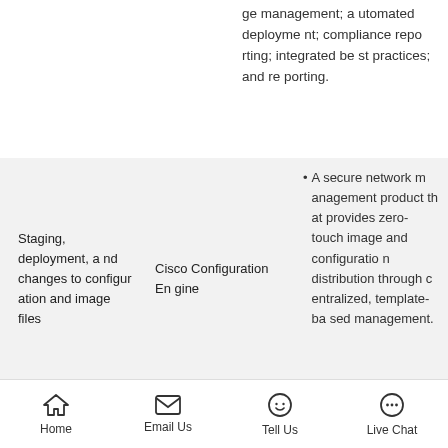ge management; automated deployment; compliance reporting; integrated best practices; and reporting.
| Use Case | Product | Description |
| --- | --- | --- |
| Staging, deployment, and changes to configuration and image files | Cisco Configuration Engine | • A secure network management product that provides zero-touch image and configuration distribution through centralized, template-based management. |
• Management tool for configuring and managing context-aware se...
Home   Email Us   Tell Us   Live Chat